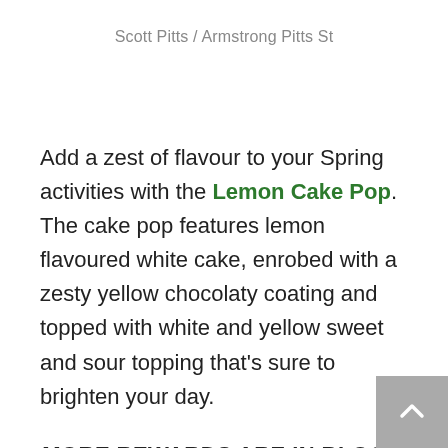Scott Pitts / Armstrong Pitts St
Add a zest of flavour to your Spring activities with the Lemon Cake Pop. The cake pop features lemon flavoured white cake, enrobed with a zesty yellow chocolaty coating and topped with white and yellow sweet and sour topping that's sure to brighten your day.
MORE REWARDS ARE IN BLOOM
This Spring is even more rewarding for TD Bank customers at Starbucks. Beginning today, TD